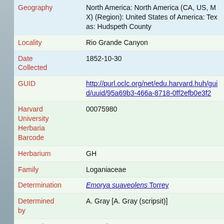Geography: North America: North America (CA, US, MX) (Region): United States of America: Texas: Hudspeth County
Locality: Rio Grande Canyon
Date Collected: 1852-10-30
GUID: http://purl.oclc.org/net/edu.harvard.huh/guid/uuid/95a69b3-466a-8718-0ff2efb0e3f2
Harvard University Herbaria Barcode: 00075980
Herbarium: GH
Family: Loganiaceae
Determination: Emorya suaveolens Torrey
Determined by: A. Gray [A. Gray (scripsit)]
Annotation Text: Syn. Fl. N. Amer.
Family: Loganiaceae
Determination: Emorya suaveolens Torrey
Determined by: E. M. Norman
Date Determined: 1988